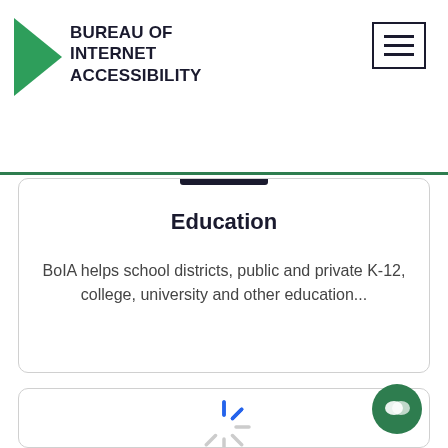[Figure (logo): Bureau of Internet Accessibility logo with green triangle and bold text]
Education
BoIA helps school districts, public and private K-12, college, university and other education...
[Figure (screenshot): Partially visible second card with a loading spinner at bottom and green chat bubble icon in bottom right]